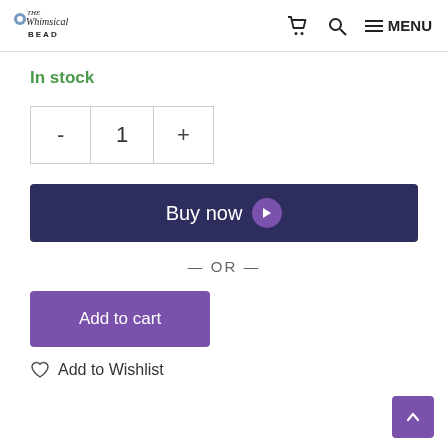The Whimsical Bead — Cart, Search, MENU navigation
In stock
- 1 +
Buy now
— OR —
Add to cart
Add to Wishlist